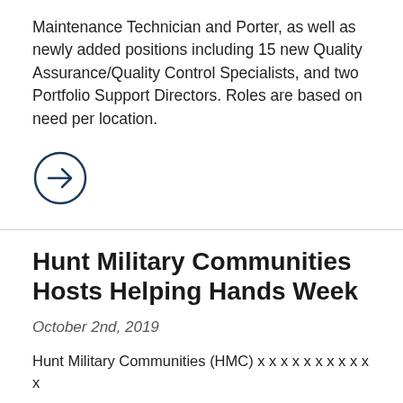Maintenance Technician and Porter, as well as newly added positions including 15 new Quality Assurance/Quality Control Specialists, and two Portfolio Support Directors. Roles are based on need per location.
[Figure (other): Arrow icon inside a circle, pointing right]
Hunt Military Communities Hosts Helping Hands Week
October 2nd, 2019
Hunt Military Communities (HMC) x x x x x x x x x x x